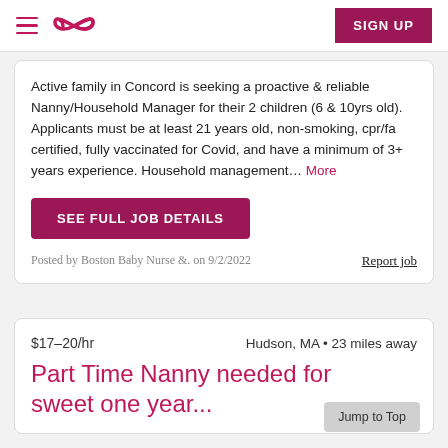Navigation bar with hamburger menu, logo, and SIGN UP button
Active family in Concord is seeking a proactive & reliable Nanny/Household Manager for their 2 children (6 & 10yrs old). Applicants must be at least 21 years old, non-smoking, cpr/fa certified, fully vaccinated for Covid, and have a minimum of 3+ years experience. Household management... More
SEE FULL JOB DETAILS
Posted by Boston Baby Nurse &. on 9/2/2022
Report job
$17–20/hr
Hudson, MA • 23 miles away
Part Time Nanny needed for sweet one year...
Jump to Top